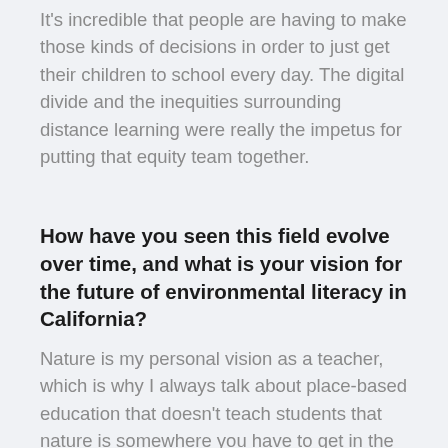It's incredible that people are having to make those kinds of decisions in order to just get their children to school every day. The digital divide and the inequities surrounding distance learning were really the impetus for putting that equity team together.
How have you seen this field evolve over time, and what is your vision for the future of environmental literacy in California?
Nature is my personal vision as a teacher, which is why I always talk about place-based education that doesn't teach students that nature is somewhere you have to get in the car and drive to. It's